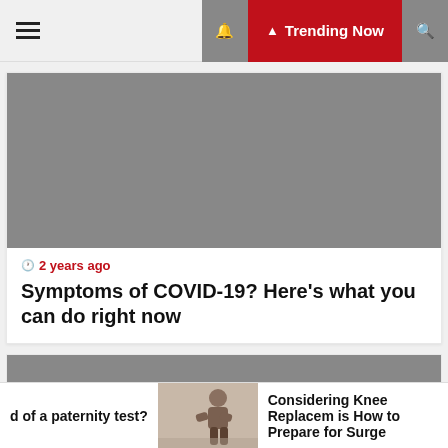☰  🔔 Trending Now 🔍
[Figure (photo): Gray placeholder image for article about COVID-19 symptoms]
🕐 2 years ago
Symptoms of COVID-19? Here's what you can do right now
[Figure (photo): Gray placeholder image for second article]
d of a paternity test?
[Figure (photo): Thumbnail image of person exercising or doing physical therapy]
Considering Knee Replacem is How to Prepare for Surge